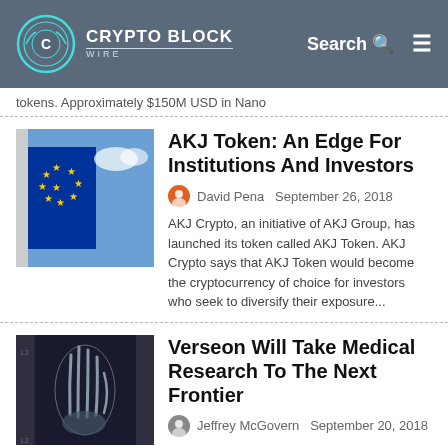Crypto Block Wire — Search
tokens. Approximately $150M USD in Nano
AKJ Token: An Edge For Institutions And Investors
David Pena  September 26, 2018
AKJ Crypto, an initiative of AKJ Group, has launched its token called AKJ Token. AKJ Crypto says that AKJ Token would become the cryptocurrency of choice for investors who seek to diversify their exposure...
Verseon Will Take Medical Research To The Next Frontier
Jeffrey McGovern  September 20, 2018